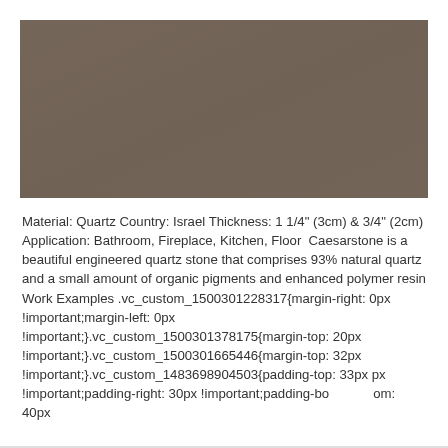[Figure (photo): A close-up photo of a brownish-gray quartz stone surface with a smooth matte texture.]
Material: Quartz Country: Israel Thickness: 1 1/4" (3cm) & 3/4" (2cm) Application: Bathroom, Fireplace, Kitchen, Floor Caesarstone is a beautiful engineered quartz stone that comprises 93% natural quartz and a small amount of organic pigments and enhanced polymer resin Work Examples .vc_custom_1500301228317{margin-right: 0px !important;margin-left: 0px !important;}.vc_custom_1500301378175{margin-top: 20px !important;}.vc_custom_1500301665446{margin-top: 32px !important;}.vc_custom_1483698904503{padding-top: 33px !important;padding-right: 30px !important;padding-bottom: 40px